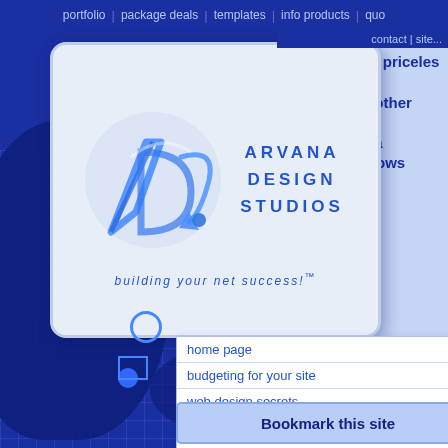portfolio | package deals | templates | info products | quo... contact | site...
[Figure (logo): Arvana Design Studios logo with stylized ADS letters in blue and tagline 'building your net success!™']
leverage the priceless knowledge base of the other participants in the program. And who knows what networking opportunities might come
home page
budgeting for your site
web design secrets
build traffic to your site
logos & graphic design
content management
hiring pro designers
work with a mentor
get your site online!
Bookmark this site